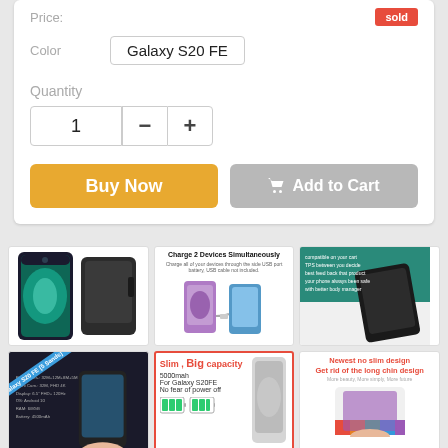Price:
Color   Galaxy S20 FE
Quantity
1
Buy Now
Add to Cart
[Figure (photo): Product gallery showing Samsung Galaxy S20 FE phone cases and battery cases - 6 product images in a 3x2 grid]
Charge 2 Devices Simultaneously
Slim, Big capacity  5000mah  For Galaxy S20FE  No fear of power off
Newest no slim design Get rid of the long chin design  More beauty, More simply, More future